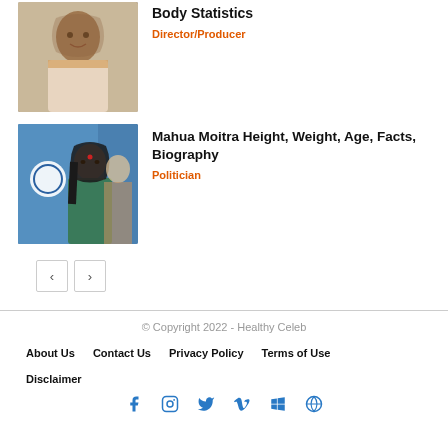[Figure (photo): Photo of a man with glasses and beard]
Body Statistics
Director/Producer
[Figure (photo): Photo of Mahua Moitra, female politician, in front of a political banner]
Mahua Moitra Height, Weight, Age, Facts, Biography
Politician
© Copyright 2022 - Healthy Celeb
About Us
Contact Us
Privacy Policy
Terms of Use
Disclaimer